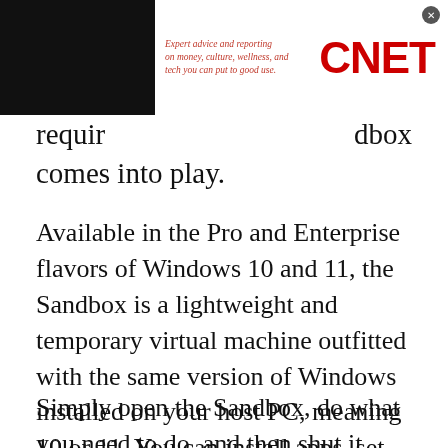[Figure (logo): CNET advertisement banner with tagline 'Expert advice and reporting on money, culture, wellness, and tech you can put to good use.' and CNET logo in red]
requires ... sandbox comes into play.
Available in the Pro and Enterprise flavors of Windows 10 and 11, the Sandbox is a lightweight and temporary virtual machine outfitted with the same version of Windows installed on your host PC, meaning 10 or 11. You can install apps, set up different features, and run processes without worrying about your activities conflicting with your core Windows environment.
Simply open the Sandbox, do what you need to do, and then shut it down. All your changes in the Sandbox disappear. The next time you open it, the